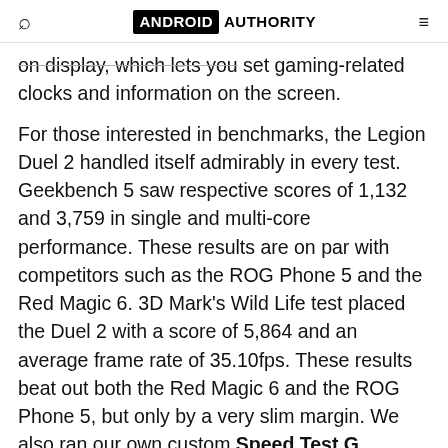ANDROID AUTHORITY
on display, which lets you set gaming-related clocks and information on the screen.
For those interested in benchmarks, the Legion Duel 2 handled itself admirably in every test. Geekbench 5 saw respective scores of 1,132 and 3,759 in single and multi-core performance. These results are on par with competitors such as the ROG Phone 5 and the Red Magic 6. 3D Mark's Wild Life test placed the Duel 2 with a score of 5,864 and an average frame rate of 35.10fps. These results beat out both the Red Magic 6 and the ROG Phone 5, but only by a very slim margin. We also ran our own custom Speed Test G benchmark, and the Duel 2 completed the time test in 74 seconds. This puts comfortably among the top